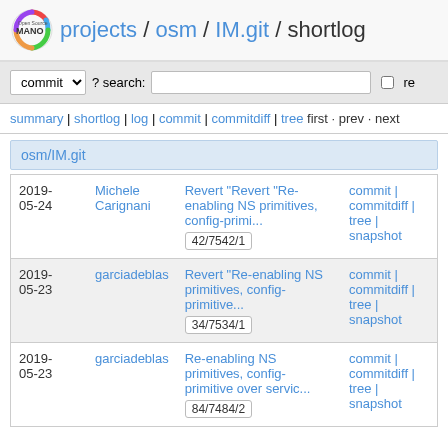Open Source MANO projects / osm / IM.git / shortlog
commit ? search: re
summary | shortlog | log | commit | commitdiff | tree first · prev · next
osm/IM.git
| Date | Author | Commit | Links |
| --- | --- | --- | --- |
| 2019-05-24 | Michele Carignani | Revert "Revert "Re-enabling NS primitives, config-primi... 42/7542/1 | commit | commitdiff | tree | snapshot |
| 2019-05-23 | garciadeblas | Revert "Re-enabling NS primitives, config-primitive... 34/7534/1 | commit | commitdiff | tree | snapshot |
| 2019-05-23 | garciadeblas | Re-enabling NS primitives, config-primitive over servic... 84/7484/2 | commit | commitdiff | tree | snapshot |